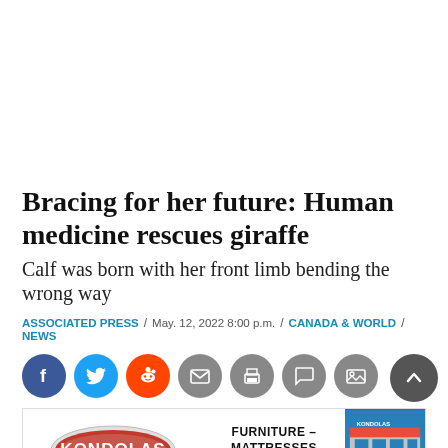Bracing for her future: Human medicine rescues giraffe
Calf was born with her front limb bending the wrong way
ASSOCIATED PRESS / May. 12, 2022 8:00 p.m. / CANADA & WORLD / NEWS
[Figure (other): Social media sharing icons: Facebook, Twitter, Reddit, Email, Print, Comment, Photo; and a scroll-to-top button]
[Figure (other): Kondolas Furniture advertisement banner with logo, text 'FURNITURE - MATTRESSES TERRACE', and store photo]